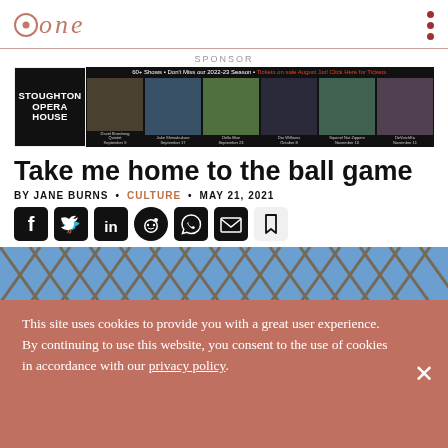tone
SPONSOR
[Figure (illustration): Stoughton Opera House advertisement banner showing performers for 2022-23 season]
Take me home to the ball game
BY JANE BURNS • CULTURE • MAY 21, 2021
[Figure (illustration): Social media sharing icons: Facebook, Twitter, LinkedIn, Reddit, WhatsApp, Email, Bookmark]
[Figure (photo): Close-up photo of a chain-link fence against a blue sky]
This site uses cookies to provide you with a great user experience. By continuing to use this website, you consent to the use of cookies in accordance with our privacy policy.